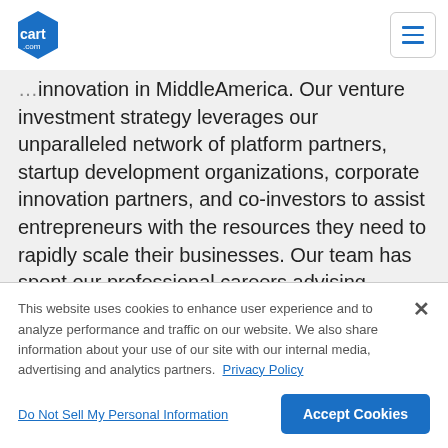[Figure (logo): Cart.com logo — blue hexagon shape with 'cart' text and '.com' beneath]
innovation in MiddleAmerica. Our venture investment strategy leverages our unparalleled network of platform partners, startup development organizations, corporate innovation partners, and co-investors to assist entrepreneurs with the resources they need to rapidly scale their businesses. Our team has spent our professional careers advising, mentoring, and investing in entrepreneurs. We believe now, more than ever, Middle America represents a great venture capital opportunity.
This website uses cookies to enhance user experience and to analyze performance and traffic on our website. We also share information about your use of our site with our internal media, advertising and analytics partners. Privacy Policy
Do Not Sell My Personal Information
Accept Cookies